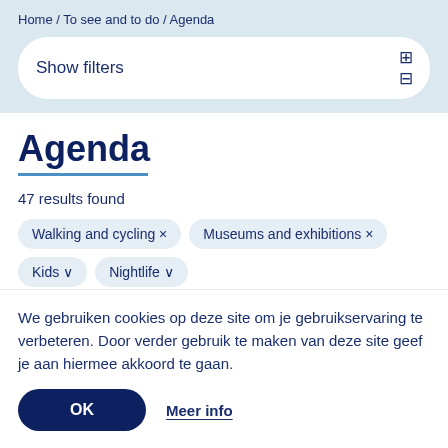Home / To see and to do / Agenda
Show filters
Agenda
47 results found
Walking and cycling ×
Museums and exhibitions ×
Kids ∨
Nightlife ∨
We gebruiken cookies op deze site om je gebruikservaring te verbeteren. Door verder gebruik te maken van deze site geef je aan hiermee akkoord te gaan.
OK
Meer info